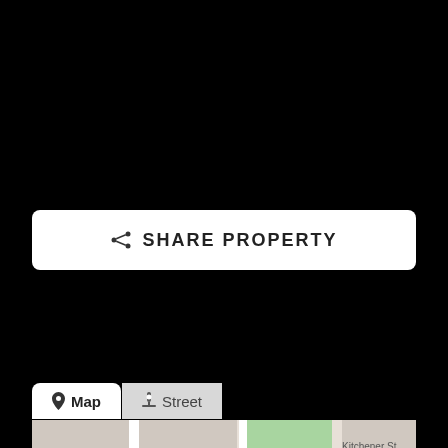[Figure (other): Black background area at top of mobile app screenshot]
SHARE PROPERTY
[Figure (map): Street map showing Willingdon Heights Park area with streets: Ingleton Ave S, Grant St, Graveley St, Kitchener St, Douglas Rd, 2nd Ave, Halifax. A blue location pin is placed near Douglas Rd. Map tab and Street tab visible at top. Zoom controls (+/-) in bottom right.]